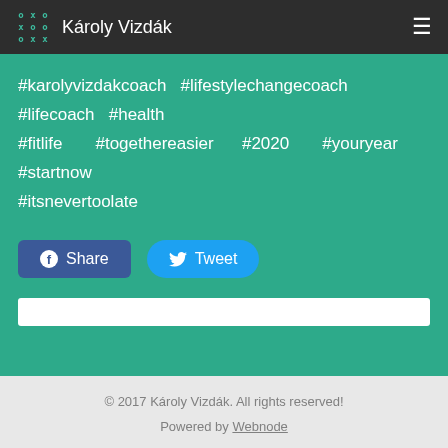Károly Vizdák
#karolyvizdakcoach #lifestylechangecoach #lifecoach #health #fitlife #togethereasier #2020 #youryear #startnow #itsnevertoolate
Share  Tweet
© 2017 Károly Vizdák. All rights reserved! Powered by Webnode Languages: Magyar / English